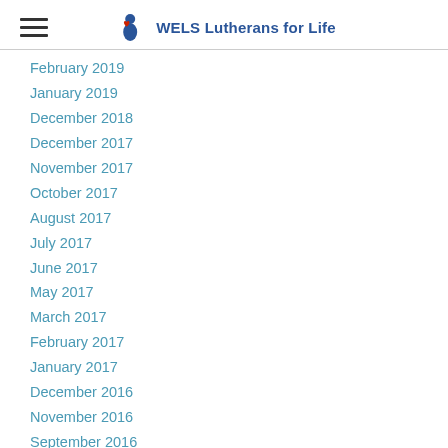WELS Lutherans for Life
February 2019
January 2019
December 2018
December 2017
November 2017
October 2017
August 2017
July 2017
June 2017
May 2017
March 2017
February 2017
January 2017
December 2016
November 2016
September 2016
August 2016